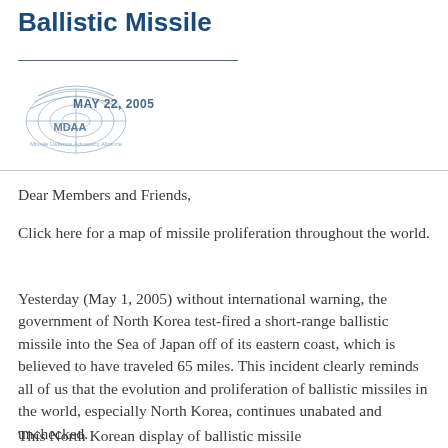Ballistic Missile
[Figure (logo): MDAA (Missile Defense Advocacy Alliance) logo with globe/arc design, dated MAY 22, 2005]
Dear Members and Friends,
Click here for a map of missile proliferation throughout the world.
Yesterday (May 1, 2005) without international warning, the government of North Korea test-fired a short-range ballistic missile into the Sea of Japan off of its eastern coast, which is believed to have traveled 65 miles. This incident clearly reminds all of us that the evolution and proliferation of ballistic missiles in the world, especially North Korea, continues unabated and unchecked.
This North Korean display of ballistic missile